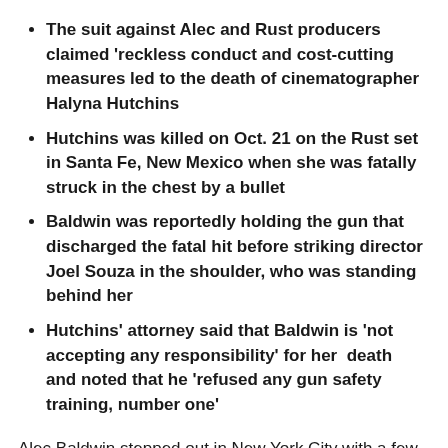The suit against Alec and Rust producers claimed 'reckless conduct and cost-cutting measures led to the death of cinematographer Halyna Hutchins
Hutchins was killed on Oct. 21 on the Rust set in Santa Fe, New Mexico when she was fatally struck in the chest by a bullet
Baldwin was reportedly holding the gun that discharged the fatal hit before striking director Joel Souza in the shoulder, who was standing behind her
Hutchins' attorney said that Baldwin is 'not accepting any responsibility' for her death and noted that he 'refused any gun safety training, number one'
Alec Baldwin stepped out in New York City with a few of his children and wife Hilaria following a wrongful death suit filed by the family of Halyna Hutchins who was killed on the Rust set in October.
Baldwin was reportedly holding the gun that discharged a bullet which fatally struck Hutchins in the chest before hitting